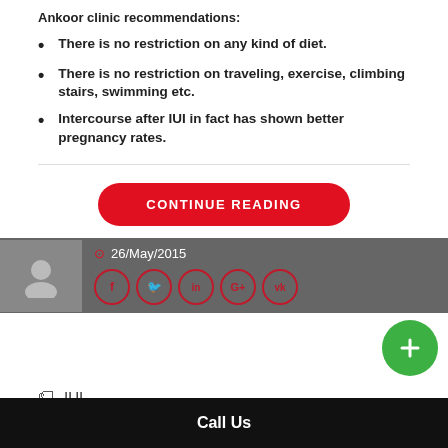Ankoor clinic recommendations:
There is no restriction on any kind of diet.
There is no restriction on traveling, exercise, climbing stairs, swimming etc.
Intercourse after IUI in fact has shown better pregnancy rates.
CONTINUE READING
26/May/2015
IUI
Call Us